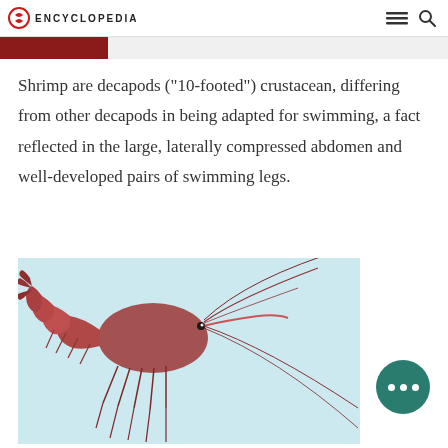ENCYCLOPEDIA
Shrimp are decapods ("10-footed") crustacean, differing from other decapods in being adapted for swimming, a fact reflected in the large, laterally compressed abdomen and well-developed pairs of swimming legs.
[Figure (illustration): Illustration of a shrimp shown in side profile view against a light blue background. The shrimp has a reddish-brown coloration with long antennae, multiple swimming legs, and a segmented body with a pronounced abdomen.]